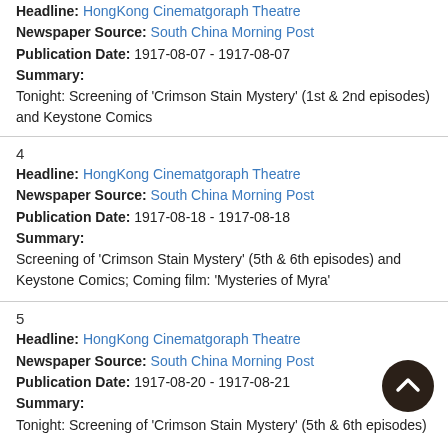Headline: HongKong Cinematgoraph Theatre
Newspaper Source: South China Morning Post
Publication Date: 1917-08-07 - 1917-08-07
Summary:
Tonight: Screening of 'Crimson Stain Mystery' (1st & 2nd episodes) and Keystone Comics
4
Headline: HongKong Cinematgoraph Theatre
Newspaper Source: South China Morning Post
Publication Date: 1917-08-18 - 1917-08-18
Summary:
Screening of 'Crimson Stain Mystery' (5th & 6th episodes) and Keystone Comics; Coming film: 'Mysteries of Myra'
5
Headline: HongKong Cinematgoraph Theatre
Newspaper Source: South China Morning Post
Publication Date: 1917-08-20 - 1917-08-21
Summary:
Tonight: Screening of 'Crimson Stain Mystery' (5th & 6th episodes)